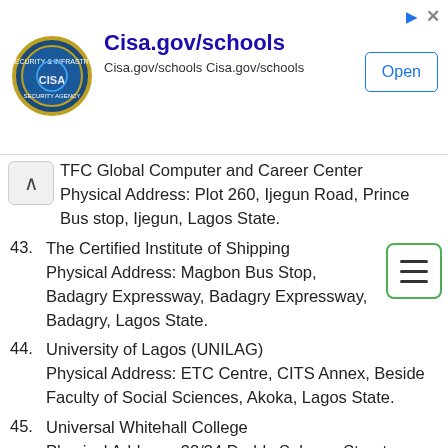[Figure (other): CISA advertisement banner with logo, Cisa.gov/schools title, subtitle, and Open button]
TFC Global Computer and Career Center Physical Address: Plot 260, Ijegun Road, Prince Bus stop, Ijegun, Lagos State.
43. The Certified Institute of Shipping Physical Address: Magbon Bus Stop, Badagry Expressway, Badagry Expressway, Badagry, Lagos State.
44. University of Lagos (UNILAG) Physical Address: ETC Centre, CITS Annex, Beside Faculty of Social Sciences, Akoka, Lagos State.
45. Universal Whitehall College Physical Address: 32/34 Daddy Salvage Street, Fagba Bus Stop, Iju Road, Ifako Ijaiye, Lagos State.
46. Vanilla Options CBT